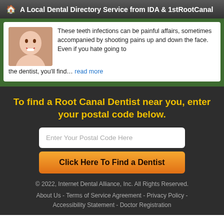A Local Dental Directory Service from IDA & 1stRootCanal
These teeth infections can be painful affairs, sometimes accompanied by shooting pains up and down the face. Even if you hate going to the dentist, you'll find… read more
To find a Root Canal Dentist near you, enter your postal code below.
Enter Your Postal Code Here
Click Here To Find a Dentist
© 2022, Internet Dental Alliance, Inc. All Rights Reserved.
About Us - Terms of Service Agreement - Privacy Policy - Accessibility Statement - Doctor Registration